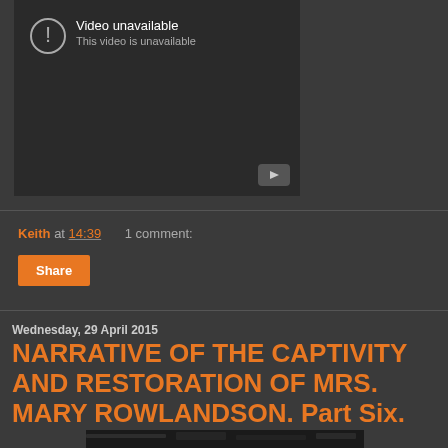[Figure (screenshot): YouTube video unavailable embed placeholder showing exclamation icon, 'Video unavailable' text, and play button]
Keith at 14:39    1 comment:
Share
Wednesday, 29 April 2015
NARRATIVE OF THE CAPTIVITY AND RESTORATION OF MRS. MARY ROWLANDSON. Part Six.
[Figure (photo): Black and white photo of trees/forest, partially visible at the bottom of the page]